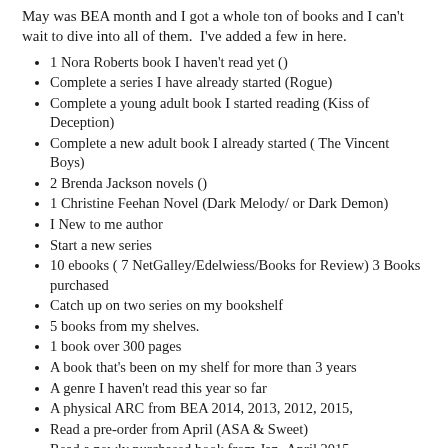May was BEA month and I got a whole ton of books and I can't wait to dive into all of them.  I've added a few in here.
1 Nora Roberts book I haven't read yet ()
Complete a series I have already started (Rogue)
Complete a young adult book I started reading (Kiss of Deception)
Complete a new adult book I already started ( The Vincent Boys)
2 Brenda Jackson novels ()
1 Christine Feehan Novel (Dark Melody/ or Dark Demon)
I New to me author
Start a new series
10 ebooks ( 7 NetGalley/Edelwiess/Books for Review) 3 Books purchased
Catch up on two series on my bookshelf
5 books from my shelves.
1 book over 300 pages
A book that's been on my shelf for more than 3 years
A genre I haven't read this year so far
A physical ARC from BEA 2014, 2013, 2012, 2015,
Read a pre-order from April (ASA & Sweet)
Read a newly purchased book from Jan- April 2015
The letter for this month is "C" can be the title or the author's name.  And I can read anything from last month's list that started